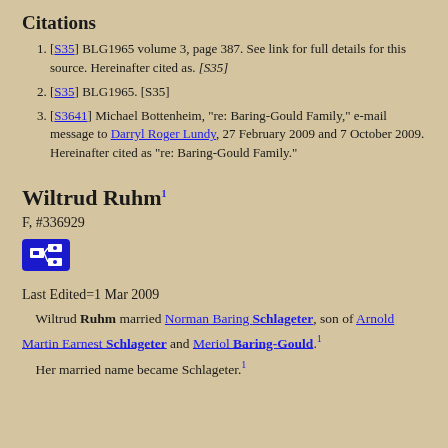Citations
[S35] BLG1965 volume 3, page 387. See link for full details for this source. Hereinafter cited as. [S35]
[S35] BLG1965. [S35]
[S3641] Michael Bottenheim, "re: Baring-Gould Family," e-mail message to Darryl Roger Lundy, 27 February 2009 and 7 October 2009. Hereinafter cited as "re: Baring-Gould Family."
Wiltrud Ruhm
F, #336929
Last Edited=1 Mar 2009
Wiltrud Ruhm married Norman Baring Schlageter, son of Arnold Martin Earnest Schlageter and Meriol Baring-Gould.1 Her married name became Schlageter.1